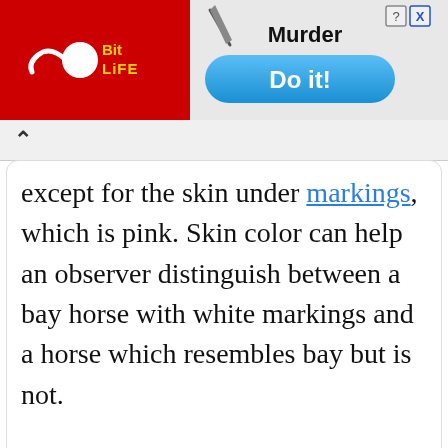[Figure (screenshot): BitLife mobile game advertisement banner with red background on left showing BitLife logo with sperm icon, and right side showing 'Murder' text with a knife icon and a blue 'Do it!' button. Close/help buttons in top right corner.]
except for the skin under markings, which is pink. Skin color can help an observer distinguish between a bay horse with white markings and a horse which resembles bay but is not.

The pigment in a bay horse's coat, regardless of shade, is rich and fully saturated. This makes bays particularly lustrous in the sun i